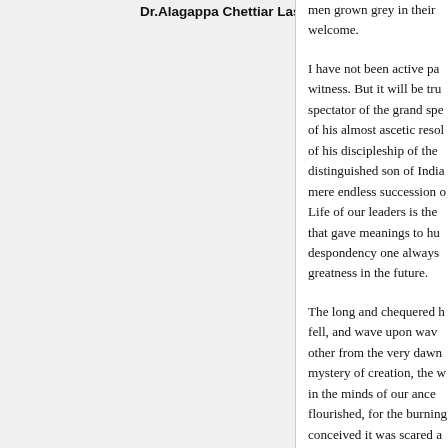Dr.Alagappa Chettiar Last Speech
men grown grey in their welcome.

I have not been active pa witness. But it will be tru spectator of the grand spe of his almost ascetic resol of his discipleship of the distinguished son of India mere endless succession o Life of our leaders is the that gave meanings to hu despondency one always greatness in the future.

The long and chequered h fell, and wave upon wav other from the very dawn mystery of creation, the w in the minds of our ance flourished, for the burning conceived it was scared a Indian civilisation, the ce